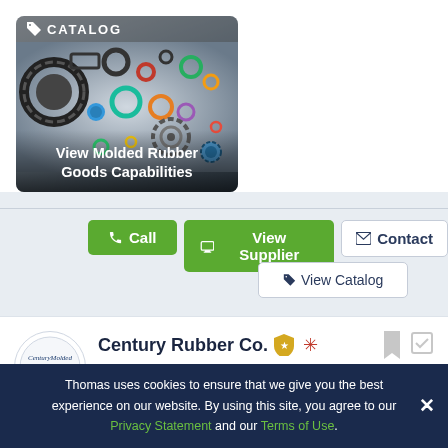[Figure (photo): Catalog thumbnail showing various rubber O-rings, gears, and rubber molded parts on a metallic background with 'CATALOG' label and tag icon overlay]
View Molded Rubber Goods Capabilities
Call  View Supplier  Contact  View Catalog
Century Rubber Co.
Bakersfield, CA
Custom Manufacturer*
$1 - 4.9 Mil  1973
Thomas uses cookies to ensure that we give you the best experience on our website. By using this site, you agree to our Privacy Statement and our Terms of Use.